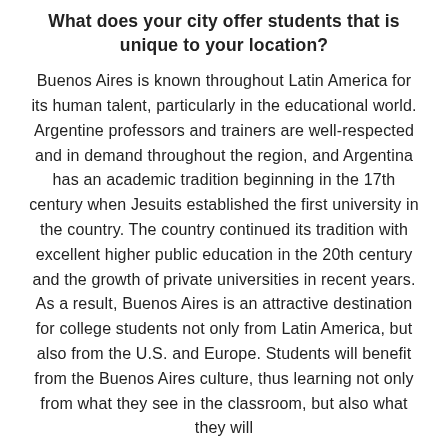What does your city offer students that is unique to your location?
Buenos Aires is known throughout Latin America for its human talent, particularly in the educational world. Argentine professors and trainers are well-respected and in demand throughout the region, and Argentina has an academic tradition beginning in the 17th century when Jesuits established the first university in the country. The country continued its tradition with excellent higher public education in the 20th century and the growth of private universities in recent years. As a result, Buenos Aires is an attractive destination for college students not only from Latin America, but also from the U.S. and Europe. Students will benefit from the Buenos Aires culture, thus learning not only from what they see in the classroom, but also what they will